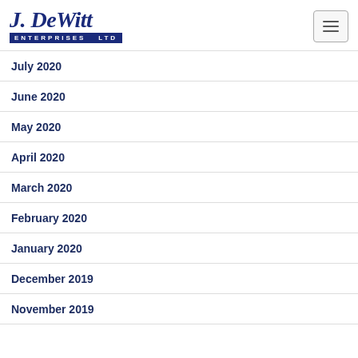J. DeWitt Enterprises Ltd
July 2020
June 2020
May 2020
April 2020
March 2020
February 2020
January 2020
December 2019
November 2019